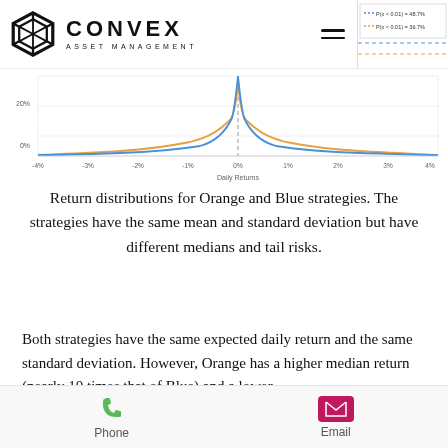[Figure (continuous-plot): Header with Convex Asset Management logo (hexagon icon + text) and hamburger menu icon. Top right shows a partially cropped chart legend and curve chart snippet showing return distributions for Orange and Blue strategies with dashed horizontal lines and legend entries P(x < 0.01) = 48.7% and P(x < 0.01) = 36.7%.]
[Figure (continuous-plot): Partial line chart showing return distributions (probability density) for Orange and Blue strategies plotted against Daily Returns (x-axis from -4% to 4%). Y-axis shows 0% to 20%+. Blue curve peaks higher near 0%, orange curve is flatter. Vertical dashed line near 0%.]
Return distributions for Orange and Blue strategies. The strategies have the same mean and standard deviation but have different medians and tail risks.
Both strategies have the same expected daily return and the same standard deviation. However, Orange has a higher median return (nearly 10 times that of Blue) and a lower
Phone   Email